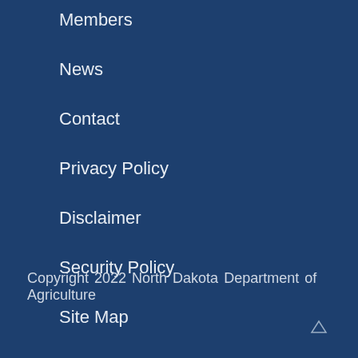Members
News
Contact
Privacy Policy
Disclaimer
Security Policy
Site Map
Copyright 2022 North Dakota Department of Agriculture